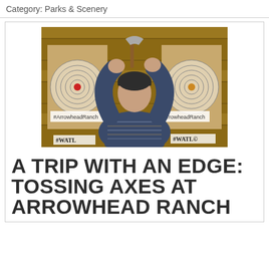Category: Parks & Scenery
[Figure (photo): Person seen from behind, wearing a patterned sweater and dark beanie hat, holding an axe above their head, about to throw it at a wooden target with bullseye rings in a timber-walled venue. Hashtag signs #ArrowheadRanch and #WATL are visible on the targets.]
A TRIP WITH AN EDGE: TOSSING AXES AT ARROWHEAD RANCH